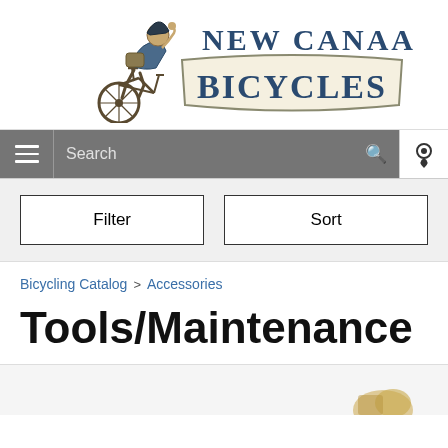[Figure (logo): New Canaan Bicycles logo with an illustrated cyclist figure on the left and the text 'NEW CANAAN' above 'BICYCLES' in a banner shape on the right]
Search
Filter
Sort
Bicycling Catalog > Accessories
Tools/Maintenance
[Figure (photo): Partial product images visible at the bottom of the page]